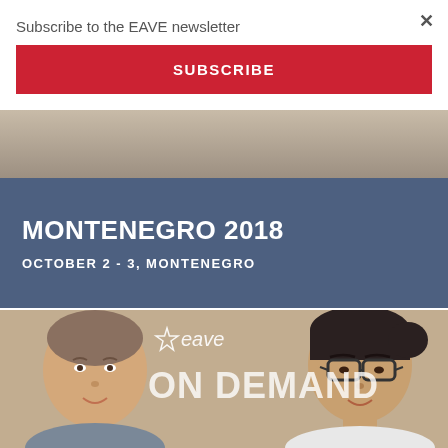Subscribe to the EAVE newsletter
SUBSCRIBE
[Figure (photo): Close-up photo of hands, partially visible at top of page]
MONTENEGRO 2018
OCTOBER 2 - 3, MONTENEGRO
[Figure (photo): Two women smiling, with EAVE ON DEMAND logo overlay]